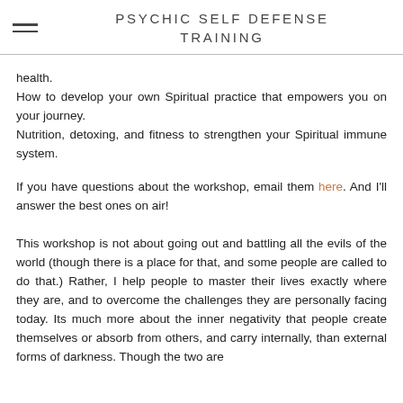PSYCHIC SELF DEFENSE TRAINING
health.
How to develop your own Spiritual practice that empowers you on your journey.
Nutrition, detoxing, and fitness to strengthen your Spiritual immune system.
If you have questions about the workshop, email them here. And I'll answer the best ones on air!
This workshop is not about going out and battling all the evils of the world (though there is a place for that, and some people are called to do that.) Rather, I help people to master their lives exactly where they are, and to overcome the challenges they are personally facing today. Its much more about the inner negativity that people create themselves or absorb from others, and carry internally, than external forms of darkness. Though the two are